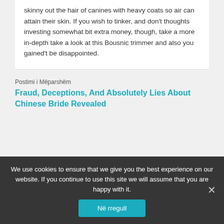skinny out the hair of canines with heavy coats so air can attain their skin. If you wish to tinker, and don't thoughts investing somewhat bit extra money, though, take a more in-depth take a look at this Bousnic trimmer and also you gained't be disappointed.
Postimi i Mëparshëm
Fraud, Deceptions, And Absolutely Lies About Chinese Bride Revealed
We use cookies to ensure that we give you the best experience on our website. If you continue to use this site we will assume that you are happy with it.
Në rregull